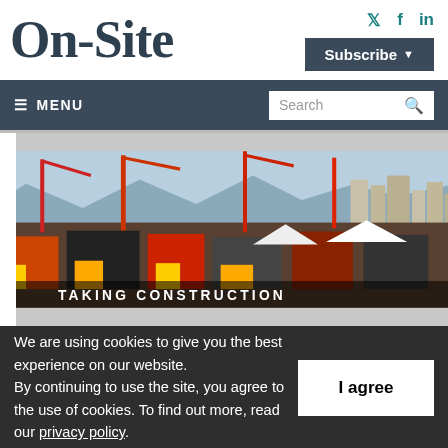On-Site
Subscribe  MENU  Search
[Figure (photo): Aerial view of a large construction equipment expo/show with cranes, heavy machinery, booths and a city skyline in the background. Text overlay at bottom: TAKING CONSTRUCTION]
We are using cookies to give you the best experience on our website.
By continuing to use the site, you agree to the use of cookies. To find out more, read our privacy policy.